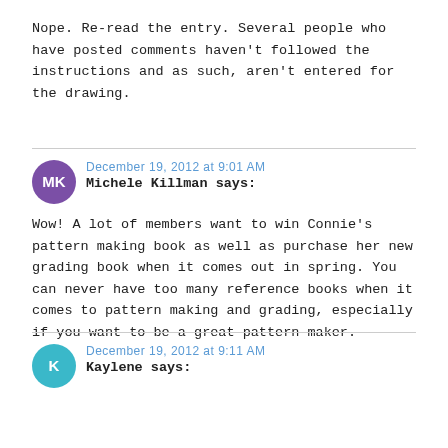Nope. Re-read the entry. Several people who have posted comments haven't followed the instructions and as such, aren't entered for the drawing.
December 19, 2012 at 9:01 AM
Michele Killman says:
Wow! A lot of members want to win Connie's pattern making book as well as purchase her new grading book when it comes out in spring. You can never have too many reference books when it comes to pattern making and grading, especially if you want to be a great pattern maker.
December 19, 2012 at 9:11 AM
Kaylene says: